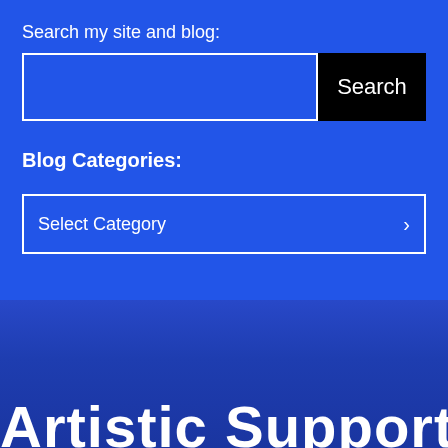Search my site and blog:
[Figure (screenshot): Search input box (empty) with a black Search button to the right]
Blog Categories:
[Figure (screenshot): Dropdown select box labeled 'Select Category' with a dropdown arrow]
Artistic Support